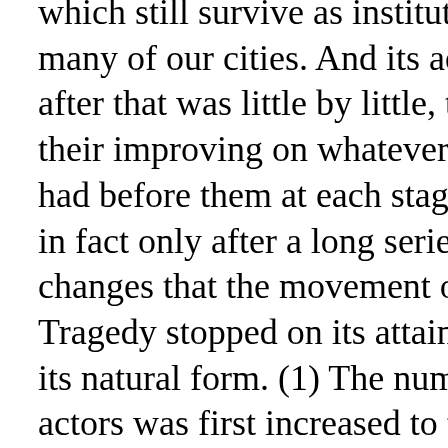which still survive as institutions in many of our cities. And its advance after that was little by little, through their improving on whatever they had before them at each stage. It was in fact only after a long series of changes that the movement of Tragedy stopped on its attaining to its natural form. (1) The number of actors was first increased to two by Aeschylus, who curtailed the business of the Chorus, and made the dialogue, or spoken portion, take the leading part in the play. (2) A third actor and scenery were due to Sophocles. (3) Tragedy acquired also its magnitude. Discarding short stories and a ludicrous diction